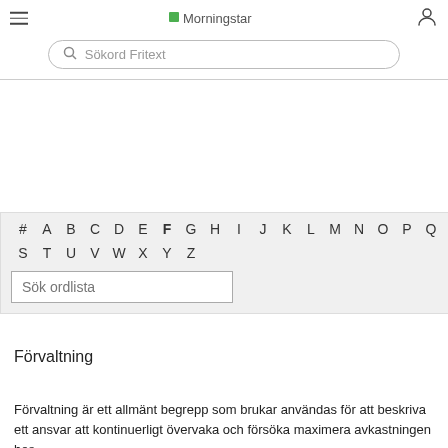Morningstar
Sökord Fritext
Ordlista
[Figure (other): Alphabet navigation bar with letters # A B C D E F G H I J K L M N O P Q R S T U V W X Y Z, letter F is bold/selected. Below is a search input labeled 'Sök ordlista'.]
Förvaltning
Förvaltning är ett allmänt begrepp som brukar användas för att beskriva ett ansvar att kontinuerligt övervaka och försöka maximera avkastningen hos